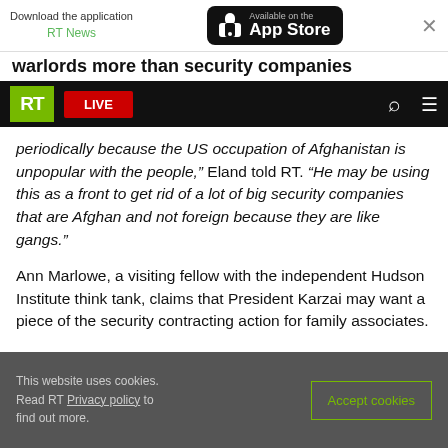Download the application RT News | Available on the App Store
warlords more than security companies
[Figure (screenshot): RT website navigation bar with green RT logo, red LIVE button, search and menu icons]
periodically because the US occupation of Afghanistan is unpopular with the people,” Eland told RT. “He may be using this as a front to get rid of a lot of big security companies that are Afghan and not foreign because they are like gangs.”
Ann Marlowe, a visiting fellow with the independent Hudson Institute think tank, claims that President Karzai may want a piece of the security contracting action for family associates.
This website uses cookies. Read RT Privacy policy to find out more. Accept cookies